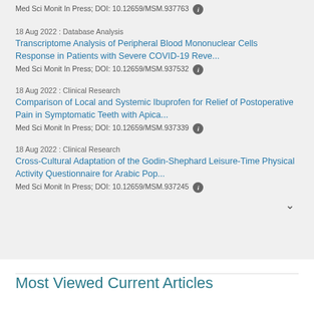Med Sci Monit In Press; DOI: 10.12659/MSM.937763
18 Aug 2022 : Database Analysis
Transcriptome Analysis of Peripheral Blood Mononuclear Cells Response in Patients with Severe COVID-19 Reve...
Med Sci Monit In Press; DOI: 10.12659/MSM.937532
18 Aug 2022 : Clinical Research
Comparison of Local and Systemic Ibuprofen for Relief of Postoperative Pain in Symptomatic Teeth with Apica...
Med Sci Monit In Press; DOI: 10.12659/MSM.937339
18 Aug 2022 : Clinical Research
Cross-Cultural Adaptation of the Godin-Shephard Leisure-Time Physical Activity Questionnaire for Arabic Pop...
Med Sci Monit In Press; DOI: 10.12659/MSM.937245
Most Viewed Current Articles